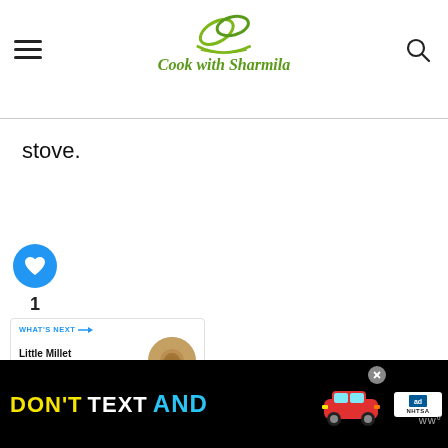Cook with Sharmila
stove.
[Figure (other): Blue circular heart/like button with count of 1, and a share button below]
[Figure (other): What's Next card showing Little Millet Kheer | Sam... with circular food thumbnail]
[Figure (other): Advertisement banner: DON'T TEXT AND [car image] with NHTSA ad badge and close button]